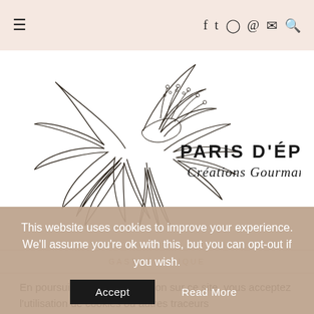≡ f 𝕏 ◎ ℗ ✉ 🔍
[Figure (logo): Paris d'Épices Créations Gourmandes logo with line-art hibiscus flower on the left and bold/script text on the right]
GASTRONOMIQUE
En poursuivant votre navigation sur ce site, vous acceptez l'utilisation de cookies ou autres traceurs
This website uses cookies to improve your experience. We'll assume you're ok with this, but you can opt-out if you wish.
Accept   Read More